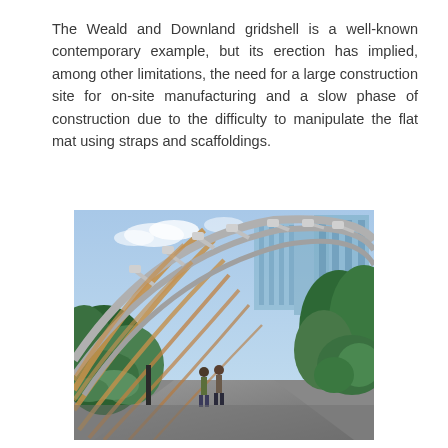The Weald and Downland gridshell is a well-known contemporary example, but its erection has implied, among other limitations, the need for a large construction site for on-site manufacturing and a slow phase of construction due to the difficulty to manipulate the flat mat using straps and scaffoldings.
[Figure (photo): Interior view of a curved gridshell structure with wooden and metal arching beams forming a tunnel-like canopy overhead. Lush green plants and trees line both sides of a pathway. Two people walk along the path. Modern glass skyscrapers are visible in the background through the open sides of the structure.]